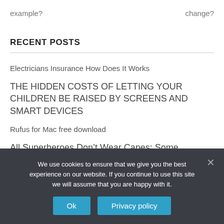example?   change?
RECENT POSTS
Electricians Insurance How Does It Works
THE HIDDEN COSTS OF LETTING YOUR CHILDREN BE RAISED BY SCREENS AND SMART DEVICES
Rufus for Mac free download
All Superheroes Don’t Wear Capes; Some Safeguard their Families with the Right Choice
We use cookies to ensure that we give you the best experience on our website. If you continue to use this site we will assume that you are happy with it.